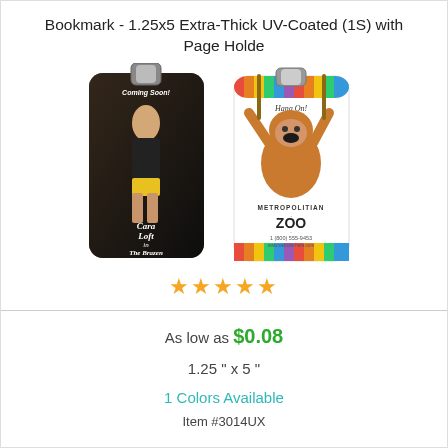Bookmark - 1.25x5 Extra-Thick UV-Coated (1S) with Page Holde
[Figure (photo): Two bookmark product samples side by side: left bookmark is dark with a female character (Cara Loft in The Brazen Rip-Off) and right bookmark is white with a baby orangutan hanging on a rope for Metropolitian Zoo, 1 (800) 555-9453]
★★★★★
As low as $0.08
1.25 " x 5 "
1 Colors Available
Item #3014UX